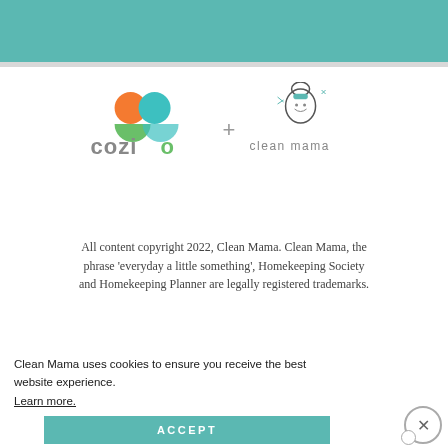[Figure (logo): Cozio + Clean Mama logos side by side with teal header bar above]
All content copyright 2022, Clean Mama. Clean Mama, the phrase ‘everyday a little something’, Homekeeping Society and Homekeeping Planner are legally registered trademarks.
Clean Mama uses cookies to ensure you receive the best website experience.
Learn more.
ACCEPT
BRANDING BY SPRUCE RD.